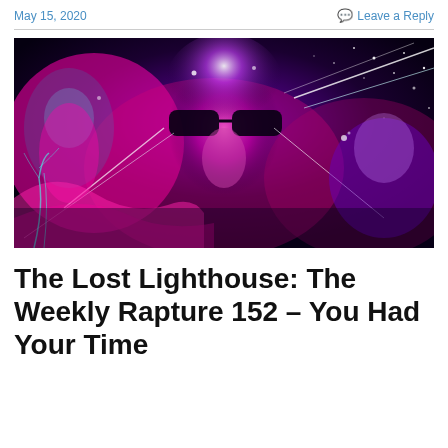May 15, 2020
Leave a Reply
[Figure (illustration): Psychedelic album/podcast artwork showing figures with bold magenta, purple and cyan colors, cosmic star background, a central figure wearing dark sunglasses, glowing lights and laser beams across the image.]
The Lost Lighthouse: The Weekly Rapture 152 – You Had Your Time